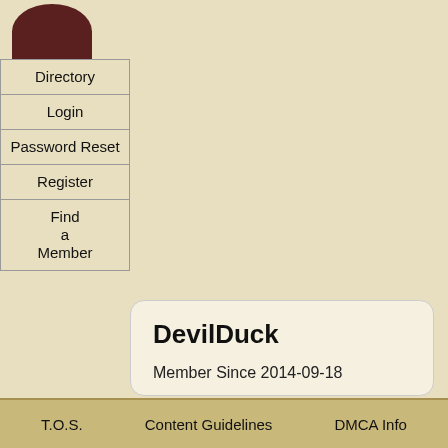Directory
Login
Password Reset
Register
Find a Member
DevilDuck
Member Since 2014-09-18
Recomended Reading
T.O.S.   Content Guidelines   DMCA Info